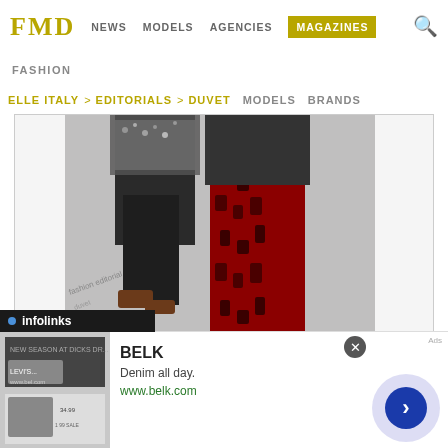FMD  NEWS  MODELS  AGENCIES  MAGAZINES
FASHION
ELLE ITALY > EDITORIALS > DUVET  MODELS  BRANDS
[Figure (photo): Two models jumping, wearing sequined and brocade fashion trousers, shot from waist down]
SHOWING 1-12 OF 13 PHOTOS
< PREVIOUS   ENTER PAGE   NEXT >
1  2
infolinks
BELK
Denim all day.
www.belk.com